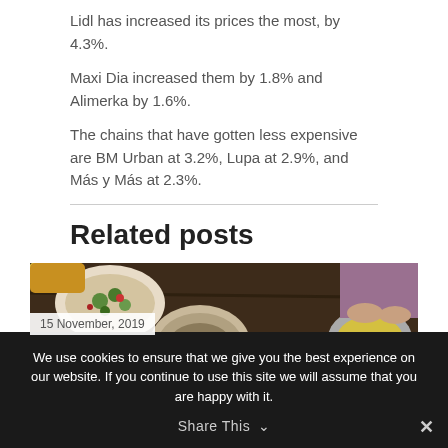Lidl has increased its prices the most, by 4.3%.
Maxi Dia increased them by 1.8% and Alimerka by 1.6%.
The chains that have gotten less expensive are BM Urban at 3.2%, Lupa at 2.9%, and Más y Más at 2.3%.
Related posts
[Figure (photo): Overhead view of a table with many bowls and plates of food, people's hands visible, dated 15 November, 2019]
15 November, 2019
We use cookies to ensure that we give you the best experience on our website. If you continue to use this site we will assume that you are happy with it.
Share This ∨